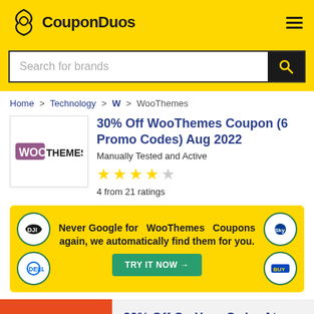CouponDuos
Search for brands
Home > Technology > W > WooThemes
30% Off WooThemes Coupon (6 Promo Codes) Aug 2022
Manually Tested and Active
4 from 21 ratings
Never Google for WooThemes Coupons again, we automatically find them for you.
TRY IT NOW →
Coupons
30% Off On Your Order At